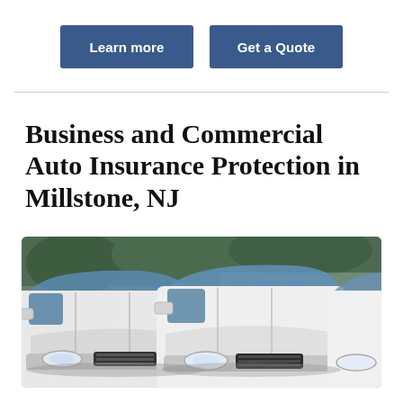Learn more
Get a Quote
Business and Commercial Auto Insurance Protection in Millstone, NJ
[Figure (photo): Row of white commercial vans/vehicles parked side by side, viewed from the front-left angle, showing hoods, windshields, mirrors, and headlights.]